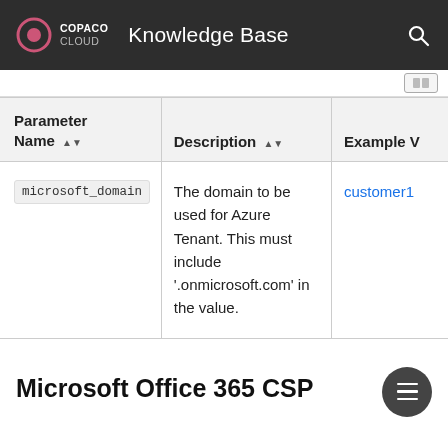Copaco Cloud - Knowledge Base
| Parameter Name | Description | Example V |
| --- | --- | --- |
| microsoft_domain | The domain to be used for Azure Tenant. This must include '.onmicrosoft.com' in the value. | customer1 |
Microsoft Office 365 CSP